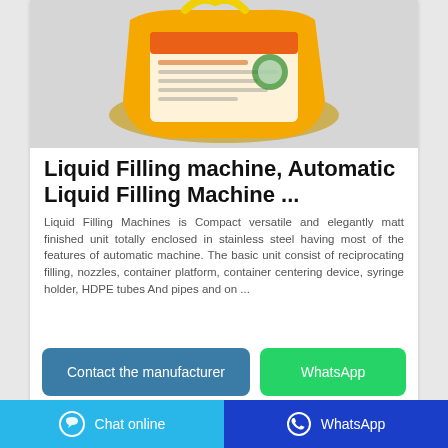[Figure (photo): Product photo of an orange/yellow plastic bag packaging with labels on a light gray background.]
Liquid Filling machine, Automatic Liquid Filling Machine ...
Liquid Filling Machines is Compact versatile and elegantly matt finished unit totally enclosed in stainless steel having most of the features of automatic machine. The basic unit consist of reciprocating filling, nozzles, container platform, container centering device, syringe holder, HDPE tubes And pipes and on ...
Contact the manufacturer
WhatsApp
Chat online  WhatsApp